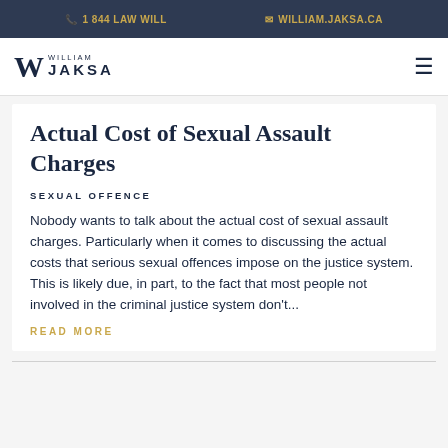1 844 LAW WILL   WILLIAM.JAKSA.CA
[Figure (logo): William Jaksa law firm logo with stylized W and firm name]
Actual Cost of Sexual Assault Charges
SEXUAL OFFENCE
Nobody wants to talk about the actual cost of sexual assault charges. Particularly when it comes to discussing the actual costs that serious sexual offences impose on the justice system. This is likely due, in part, to the fact that most people not involved in the criminal justice system don't...
READ MORE